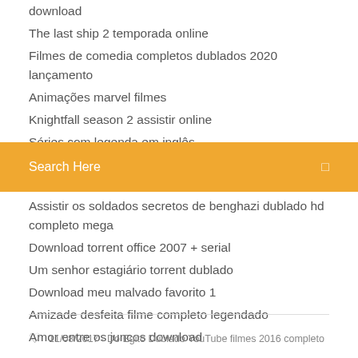download
The last ship 2 temporada online
Filmes de comedia completos dublados 2020 lançamento
Animações marvel filmes
Knightfall season 2 assistir online
Séries com legenda em inglês
Suits temporada 5 resumen capitulos
Search Here
Assistir os soldados secretos de benghazi dublado hd completo mega
Download torrent office 2007 + serial
Um senhor estagiário torrent dublado
Download meu malvado favorito 1
Amizade desfeita filme completo legendado
Amor entre os juncos download
11/08/2017 · Do Egito Dublado YouTube filmes 2016 completo